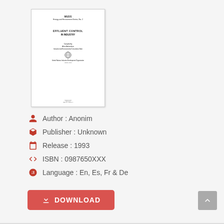[Figure (illustration): Thumbnail of a book cover showing WUDS Energy and Environment Series No.2, titled 'EFFLUENT CONTROL IN INDUSTRY', compiled by an author, with a UNIDO logo and United Nations Industrial Development Organization imprint, dated 1993.]
Author : Anonim
Publisher : Unknown
Release : 1993
ISBN : 0987650XXX
Language : En, Es, Fr & De